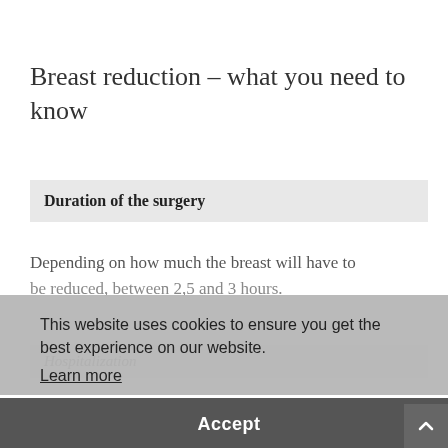Breast reduction – what you need to know
Duration of the surgery
Depending on how much the breast will have to be reduced, between 2,5 and 3 hours.
Hospitalization
Dr. Colette Carmen Camenisch performs the breast reduction surgeries in the ambulatory clinic in Beethovenstrasse. Should this be the
This website uses cookies to ensure you get the best experience on our website. Learn more Accept